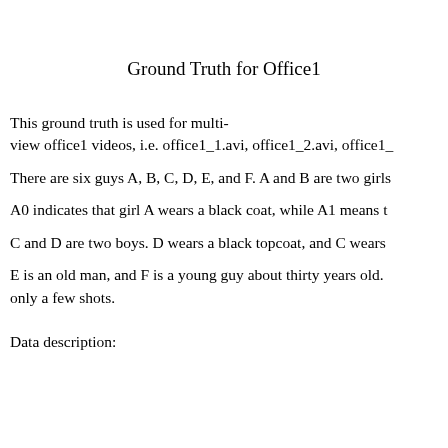Ground Truth for Office1
This ground truth is used for multi-view office1 videos, i.e. office1_1.avi, office1_2.avi, office1_...
There are six guys A, B, C, D, E, and F. A and B are two girls...
A0 indicates that girl A wears a black coat, while A1 means t...
C and D are two boys. D wears a black topcoat, and C wears...
E is an old man, and F is a young guy about thirty years old. ... only a few shots.
Data description: